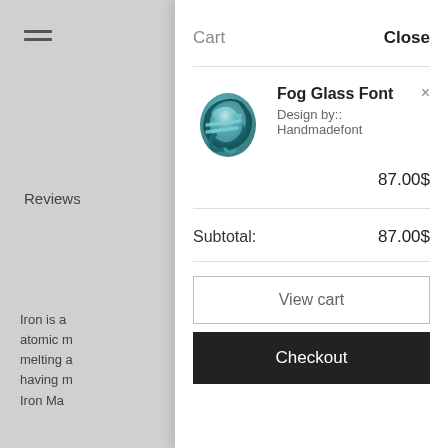[Figure (screenshot): Shopping cart overlay panel on a website. Left side shows a grayed-out background page with hamburger menu, 'Reviews' label, and partial text. Right side shows a white cart panel with item 'Fog Glass Font' by Handmadefont at 87.00$, subtotal 87.00$, View cart button, and Checkout button.]
Cart
Close
Fog Glass Font
Design by:: Handmadefont
87.00$
Subtotal:
87.00$
View cart
Checkout